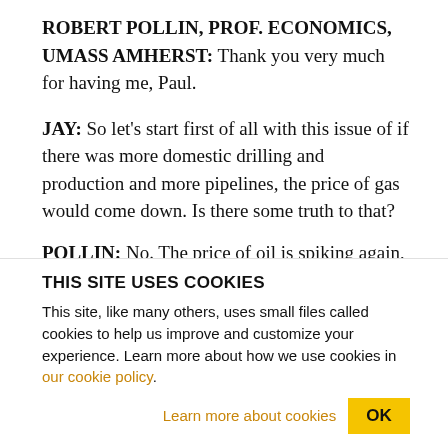ROBERT POLLIN, PROF. ECONOMICS, UMASS AMHERST: Thank you very much for having me, Paul.
JAY: So let's start first of all with this issue of if there was more domestic drilling and production and more pipelines, the price of gas would come down. Is there some truth to that?
POLLIN: No. The price of oil is spiking again, just like it spiked last summer and just like it spiked in
THIS SITE USES COOKIES
This site, like many others, uses small files called cookies to help us improve and customize your experience. Learn more about how we use cookies in our cookie policy.
Learn more about cookies   OK